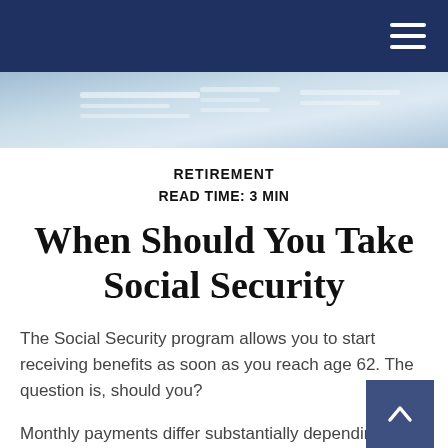Navigation bar with hamburger menu
[Figure (photo): Header photo showing financial documents on a desk, light blue tones]
RETIREMENT
READ TIME: 3 MIN
When Should You Take Social Security
The Social Security program allows you to start receiving benefits as soon as you reach age 62. The question is, should you?
Monthly payments differ substantially depending on when you start receiving benefits. The longer you wait (up to age 70), the larger each monthly check will be. The sooner you